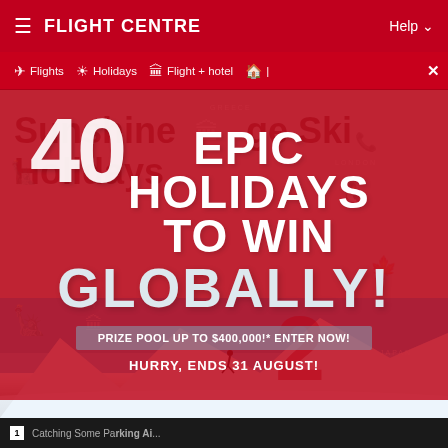≡ FLIGHT CENTRE   Help ∨
✈ Flights   ☀ Holidays   🏛 Flight + hotel   🏨 |  ×
40 EPIC HOLIDAYS TO WIN GLOBALLY!
Sunshine ... ge Ski Holidays
PRIZE POOL UP TO $400,000!* ENTER NOW!
HURRY, ENDS 31 AUGUST!
[Figure (screenshot): Snow-covered mountain landscape with blue sky, skier silhouette visible against mountain slopes]
Catching Some Parking Ai...